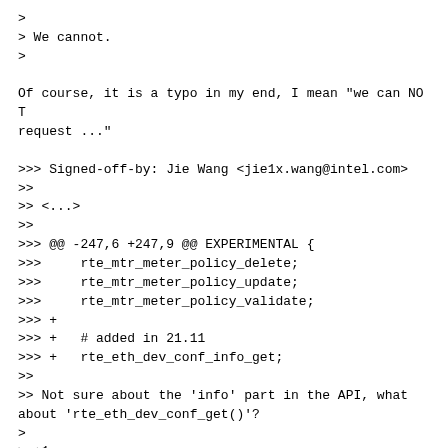>
> We cannot.
>

Of course, it is a typo in my end, I mean "we can NOT request ..."

>>> Signed-off-by: Jie Wang <jie1x.wang@intel.com>
>>
>> <...>
>>
>>> @@ -247,6 +247,9 @@ EXPERIMENTAL {
>>>     rte_mtr_meter_policy_delete;
>>>     rte_mtr_meter_policy_update;
>>>     rte_mtr_meter_policy_validate;
>>> +
>>> +   # added in 21.11
>>> +   rte_eth_dev_conf_info_get;
>>
>> Not sure about the 'info' part in the API, what about 'rte_eth_dev_conf_get()'?
>
> +1
>
>
next prev parent reply   other threads:[~2021-10-04 11:36 UTC|newest]